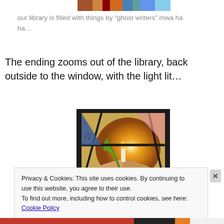[Figure (photo): Partial top of a photo showing colorful book spines on a library shelf, cropped at top of page]
our library is filled with things by “ghost writers” mwa ha ha…
The ending zooms out of the library, back outside to the window, with the light lit…
[Figure (photo): Stained glass window panel depicting an open book with a candle and quill pen, glowing amber light radiating outward, dark lead lines forming geometric shapes around it]
Privacy & Cookies: This site uses cookies. By continuing to use this website, you agree to their use.
To find out more, including how to control cookies, see here: Cookie Policy
Close and accept